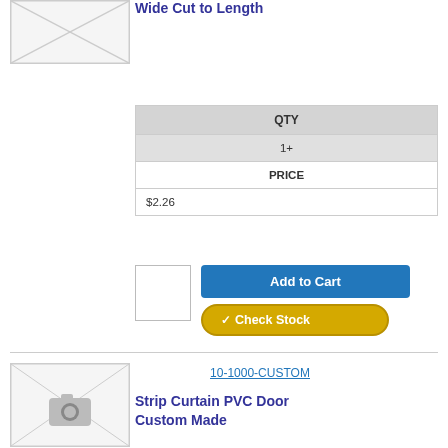Wide Cut to Length
| QTY |
| --- |
| 1+ |
| PRICE |
| $2.26 |
[Figure (screenshot): Add to Cart button and Check Stock button with quantity input box]
10-1000-CUSTOM
Strip Curtain PVC Door Custom Made
[Figure (photo): Product placeholder image with camera icon]